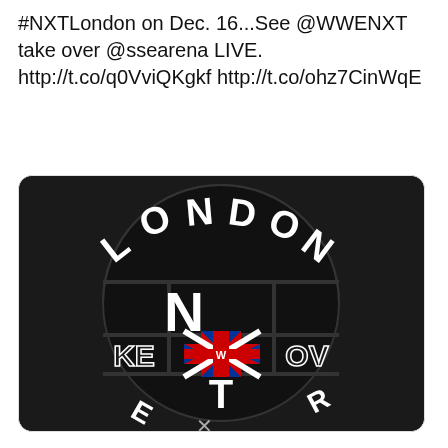#NXTLondon on Dec. 16...See @WWENXT take over @ssearena LIVE. http://t.co/q0VviQKgkf http://t.co/ohz7CinWqE
[Figure (logo): WWE NXT Takeover London circular logo on black background. Circle with 'LONDON' text arching across top, large NXT letters in center, Union Jack flag pattern in the middle with WWE logo, 'TAKEOVER' text across the sides, black and white design with red/blue UK flag colors.]